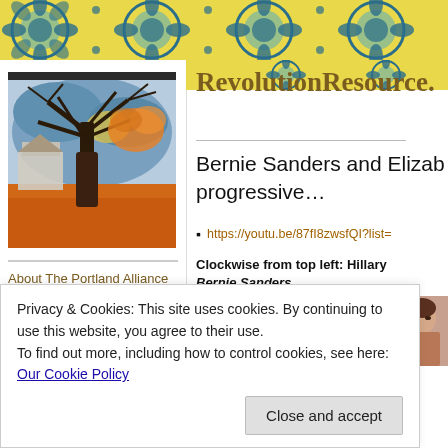Decorative banner with floral/mandala pattern in blue and yellow
RevolutionResource.
[Figure (illustration): Expressionist-style painting of a bare tree with twisted branches against a stormy sky, with a building in the background and earthy orange/brown foreground]
About The Portland Alliance (NAAME, Inc.)
Bernie Sanders and Elizab progressive…
https://youtu.be/87fI8zwsfQI?list=
Clockwise from top left: Hillary Bernie Sanders
Privacy & Cookies: This site uses cookies. By continuing to use this website, you agree to their use.
To find out more, including how to control cookies, see here: Our Cookie Policy
Close and accept